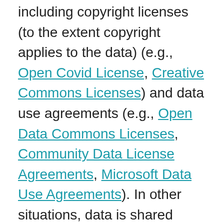including copyright licenses (to the extent copyright applies to the data) (e.g., Open Covid License, Creative Commons Licenses) and data use agreements (e.g., Open Data Commons Licenses, Community Data License Agreements, Microsoft Data Use Agreements). In other situations, data is shared without contractual terms or pursuant to bespoke terms. Which contractual approach works best for a particular data sharing arrangement depends on a variety of factors, such as the goals of the arrangement, the data being shared, and how IPR laws might protect the data. Understanding the various contractual options can help data users and contributors navigate these different questions and converge on a framework that is suitable for them, regardless of the data governance situaton.